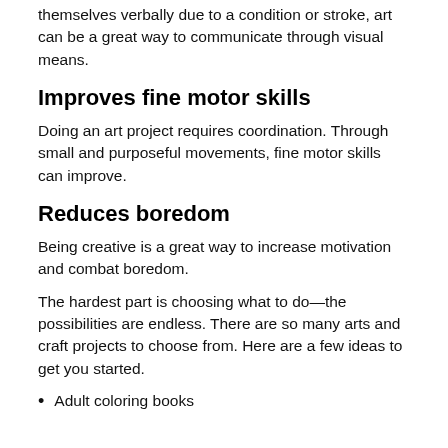themselves verbally due to a condition or stroke, art can be a great way to communicate through visual means.
Improves fine motor skills
Doing an art project requires coordination. Through small and purposeful movements, fine motor skills can improve.
Reduces boredom
Being creative is a great way to increase motivation and combat boredom.
The hardest part is choosing what to do—the possibilities are endless. There are so many arts and craft projects to choose from. Here are a few ideas to get you started.
Adult coloring books